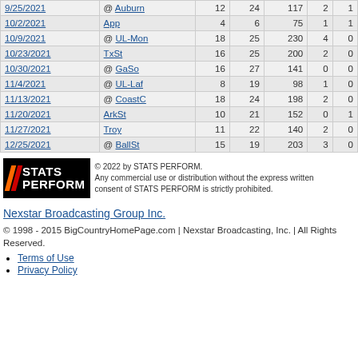| Date | Opponent | C | Att | Yds | TD | Int |
| --- | --- | --- | --- | --- | --- | --- |
| 9/25/2021 | @ Auburn | 12 | 24 | 117 | 2 | 1 |
| 10/2/2021 | App | 4 | 6 | 75 | 1 | 1 |
| 10/9/2021 | @ UL-Mon | 18 | 25 | 230 | 4 | 0 |
| 10/23/2021 | TxSt | 16 | 25 | 200 | 2 | 0 |
| 10/30/2021 | @ GaSo | 16 | 27 | 141 | 0 | 0 |
| 11/4/2021 | @ UL-Laf | 8 | 19 | 98 | 1 | 0 |
| 11/13/2021 | @ CoastC | 18 | 24 | 198 | 2 | 0 |
| 11/20/2021 | ArkSt | 10 | 21 | 152 | 0 | 1 |
| 11/27/2021 | Troy | 11 | 22 | 140 | 2 | 0 |
| 12/25/2021 | @ BallSt | 15 | 19 | 203 | 3 | 0 |
[Figure (logo): STATS PERFORM logo on black background with orange/red diagonal slashes]
© 2022 by STATS PERFORM. Any commercial use or distribution without the express written consent of STATS PERFORM is strictly prohibited.
Nexstar Broadcasting Group Inc.
© 1998 - 2015 BigCountryHomePage.com | Nexstar Broadcasting, Inc. | All Rights Reserved.
Terms of Use
Privacy Policy